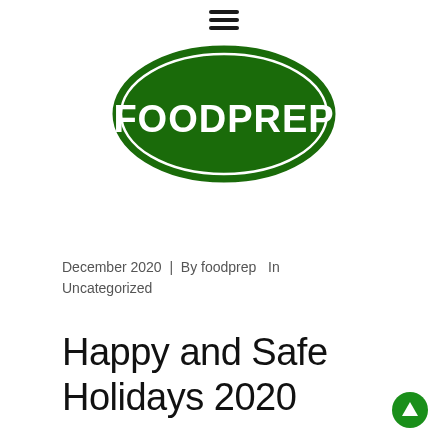[Figure (logo): FOODPREP logo: white text on a dark green ellipse with a white inner border ring, oval shaped, bold stylized font]
December 2020  |  By foodprep  In Uncategorized
Happy and Safe Holidays 2020